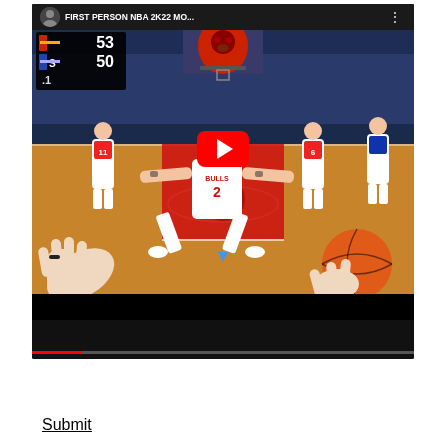[Figure (screenshot): YouTube video thumbnail/embed showing a first-person NBA 2K22 gameplay mod. The video title reads 'FIRST PERSON NBA 2K22 MO...' with a small avatar icon and three-dot menu. The thumbnail shows a first-person perspective basketball game with a Chicago Bulls player (number 2, BULLS jersey) crouching with arms spread on the court, with hands holding a basketball visible at the bottom of the screen. A scoreboard shows 53-50 with .1 time remaining. A red YouTube play button overlay is centered on the image. Below the thumbnail is a black progress bar area.]
Submit